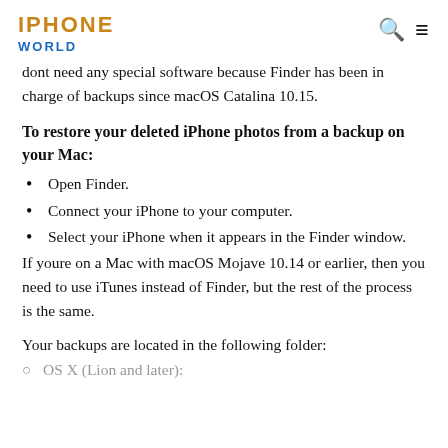IPHONE WORLD
dont need any special software because Finder has been in charge of backups since macOS Catalina 10.15.
To restore your deleted iPhone photos from a backup on your Mac:
Open Finder.
Connect your iPhone to your computer.
Select your iPhone when it appears in the Finder window.
If youre on a Mac with macOS Mojave 10.14 or earlier, then you need to use iTunes instead of Finder, but the rest of the process is the same.
Your backups are located in the following folder: